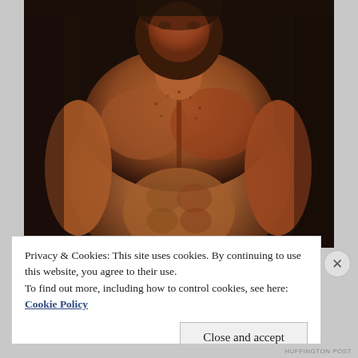[Figure (photo): A shirtless muscular man photographed from the torso up in a dark moody setting, appearing to be a movie or promotional still.]
Privacy & Cookies: This site uses cookies. By continuing to use this website, you agree to their use.
To find out more, including how to control cookies, see here: Cookie Policy
Close and accept